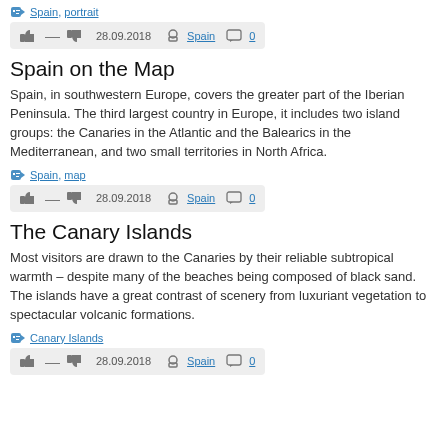Spain, portrait
28.09.2018   Spain   0
Spain on the Map
Spain, in southwestern Europe, covers the greater part of the Iberian Peninsula. The third largest country in Europe, it includes two island groups: the Canaries in the Atlantic and the Balearics in the Mediterranean, and two small territories in North Africa.
Spain, map
28.09.2018   Spain   0
The Canary Islands
Most visitors are drawn to the Canaries by their reliable subtropical warmth – despite many of the beaches being composed of black sand. The islands have a great contrast of scenery from luxuriant vegetation to spectacular volcanic formations.
Canary Islands
28.09.2018   Spain   0